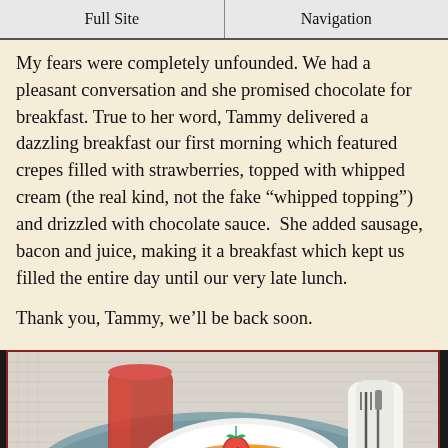Full Site | Navigation
My fears were completely unfounded. We had a pleasant conversation and she promised chocolate for breakfast. True to her word, Tammy delivered a dazzling breakfast our first morning which featured crepes filled with strawberries, topped with whipped cream (the real kind, not the fake “whipped topping”) and drizzled with chocolate sauce.  She added sausage, bacon and juice, making it a breakfast which kept us filled the entire day until our very late lunch.
Thank you, Tammy, we’ll be back soon.
[Figure (photo): A breakfast plate with pancakes, sliced oranges, and a strawberry on top, alongside a glass of red juice and cutlery wrapped in a napkin, on a blue woven placemat.]